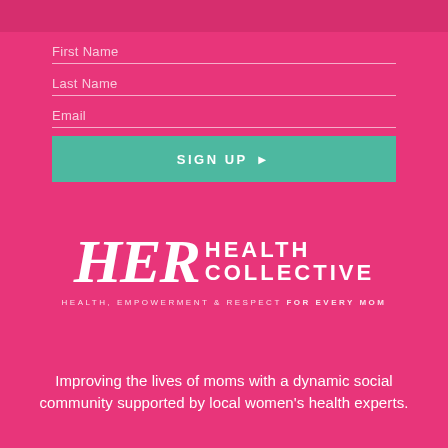First Name
Last Name
Email
SIGN UP ▶
[Figure (logo): HER Health Collective logo — stylized italic 'HER' in white with 'HEALTH COLLECTIVE' in block letters to the right, on pink background. Tagline: HEALTH, EMPOWERMENT & RESPECT FOR EVERY MOM]
Improving the lives of moms with a dynamic social community supported by local women's health experts.